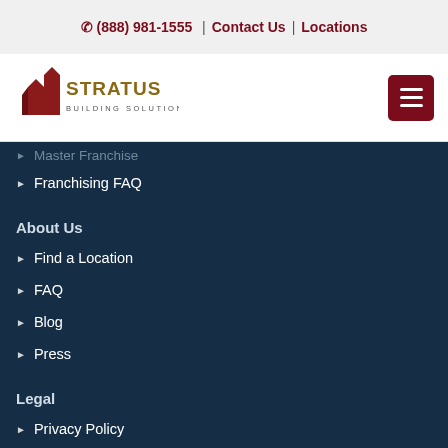☎ (888) 981-1555 | Contact Us | Locations
[Figure (logo): Stratus Building Solutions logo with stylized building silhouette in dark red and gold text]
▶ Master Franchise
▶ Franchising FAQ
About Us
▶ Find a Location
▶ FAQ
▶ Blog
▶ Press
Legal
▶ Privacy Policy